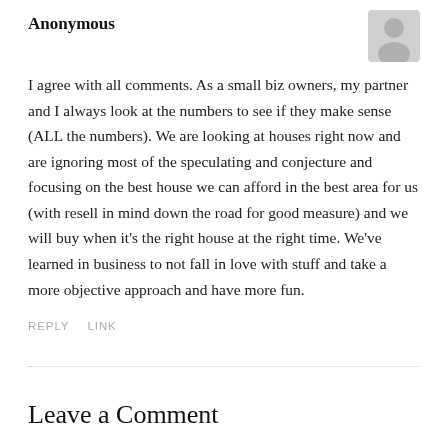Anonymous
I agree with all comments. As a small biz owners, my partner and I always look at the numbers to see if they make sense (ALL the numbers). We are looking at houses right now and are ignoring most of the speculating and conjecture and focusing on the best house we can afford in the best area for us (with resell in mind down the road for good measure) and we will buy when it's the right house at the right time. We've learned in business to not fall in love with stuff and take a more objective approach and have more fun.
REPLY   LINK
Leave a Comment